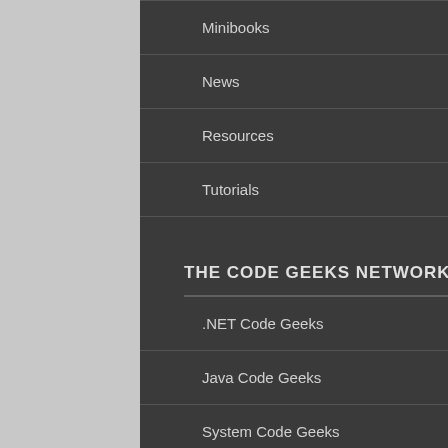Minibooks
News
Resources
Tutorials
THE CODE GEEKS NETWORK
.NET Code Geeks
Java Code Geeks
System Code Geeks
Web Code Geeks
HALL OF FAME
Android Alert Dialog Example
Android OnClickListener Example